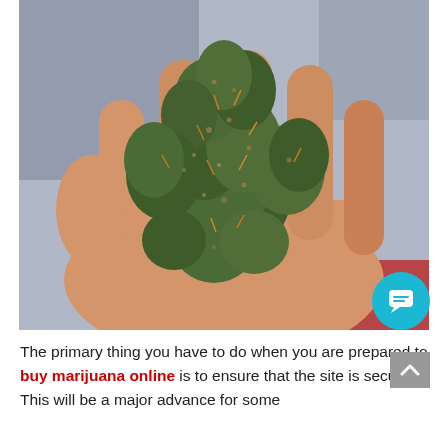[Figure (photo): A hand holding multiple green cannabis buds/marijuana flower clusters, close-up photo against a blurred background.]
The primary thing you have to do when you are prepared to buy marijuana online is to ensure that the site is secure. This will be a major advance for some